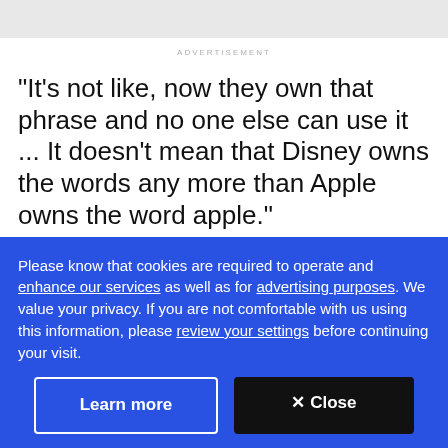ADVERTISEMENT
"It's not like, now they own that phrase and no one else can use it ... It doesn't mean that Disney owns the words any more than Apple owns the word apple."
However, he also added: "Anytime you're a major company, you have to try to think about how the public
Please know that cookies are required to operate and enhance our services as well as for advertising purposes. We value your privacy. If you are not comfortable with us using this information, please review your settings before continuing your visit.
Learn more
✕ Close